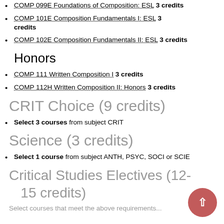COMP 099E Foundations of Composition: ESL 3 credits
COMP 101E Composition Fundamentals I: ESL 3 credits
COMP 102E Composition Fundamentals II: ESL 3 credits
Honors
COMP 111 Written Composition I 3 credits
COMP 112H Written Composition II: Honors 3 credits
CRIT Choice (9 credits)
Select 3 courses from subject CRIT
Science (3 credits)
Select 1 course from subject ANTH, PSYC, SOCI or SCIE
Critical Studies Electives (12-15 credits)
Select courses that meet the above requirements...